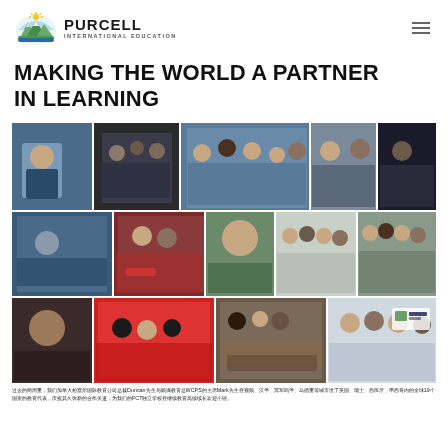PURCELL INTERNATIONAL EDUCATION
MAKING THE WORLD A PARTNER IN LEARNING
[Figure (photo): Collage of multiple photos showing Duncan and Mark meeting with international education partners and representatives from 19 countries including UK, Denmark, Switzerland, New Zealand, Mexico and others, at various conferences and events related to FCT independent school international education programs.]
过去的两周里，我们加拿大柏塞尔国际教育公司总裁Duncan先生与顾满教育总WCPS的主席Mark先生在视频、汉堡、冥军码堡、马德里等城市世了英国、瑞士、西班牙、墨西哥内的全球19个国家的教育代表，庆祝其久弥新的合作关道，为我们的FCT独立学校在继续教育高续续长欢迎小镇。